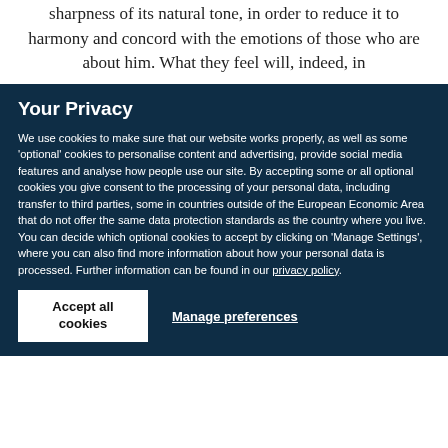sharpness of its natural tone, in order to reduce it to harmony and concord with the emotions of those who are about him. What they feel will, indeed, in
Your Privacy
We use cookies to make sure that our website works properly, as well as some 'optional' cookies to personalise content and advertising, provide social media features and analyse how people use our site. By accepting some or all optional cookies you give consent to the processing of your personal data, including transfer to third parties, some in countries outside of the European Economic Area that do not offer the same data protection standards as the country where you live. You can decide which optional cookies to accept by clicking on 'Manage Settings', where you can also find more information about how your personal data is processed. Further information can be found in our privacy policy.
Accept all cookies
Manage preferences